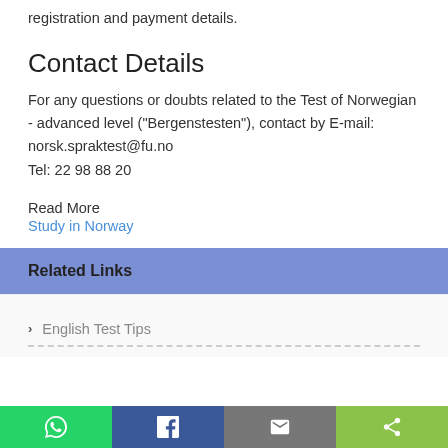registration and payment details.
Contact Details
For any questions or doubts related to the Test of Norwegian - advanced level ("Bergenstesten"), contact by E-mail: norsk.spraktest@fu.no
Tel: 22 98 88 20
Read More
Study in Norway
Related Links
English Test Tips